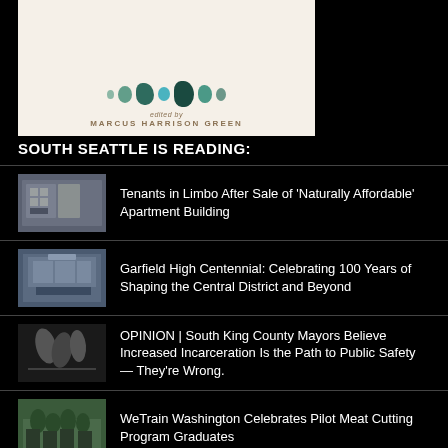[Figure (illustration): Book cover with decorative teal/dark green drops or seeds and text 'edited by MARCUS HARRISON GREEN' on cream background]
SOUTH SEATTLE IS READING:
Tenants in Limbo After Sale of ‘Naturally Affordable’ Apartment Building
Garfield High Centennial: Celebrating 100 Years of Shaping the Central District and Beyond
OPINION | South King County Mayors Believe Increased Incarceration Is the Path to Public Safety — They’re Wrong.
WeTrain Washington Celebrates Pilot Meat Cutting Program Graduates
Indigenous Press YOLTEOTL Opens in September